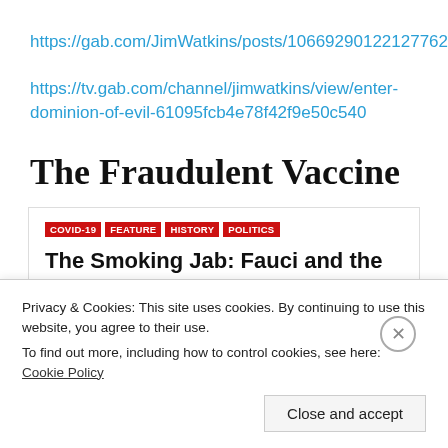https://gab.com/JimWatkins/posts/106692901221277628
https://tv.gab.com/channel/jimwatkins/view/enter-dominion-of-evil-61095fcb4e78f42f9e50c540
The Fraudulent Vaccine
[Figure (screenshot): Article card with tags COVID-19, FEATURE, HISTORY, POLITICS and headline: The Smoking Jab: Fauci and the NIH Knew Covid-19 "Vaccines" Could Lead to]
Privacy & Cookies: This site uses cookies. By continuing to use this website, you agree to their use. To find out more, including how to control cookies, see here: Cookie Policy
Close and accept